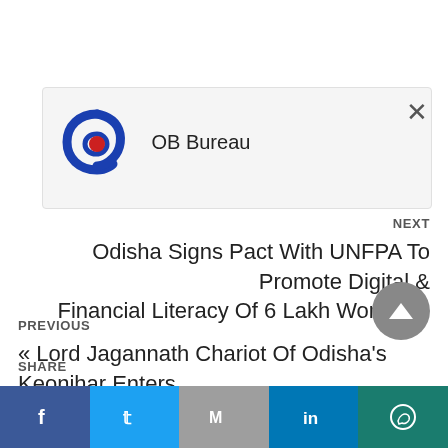[Figure (logo): OB Bureau logo with blue spiral 'b' and red circle dot]
OB Bureau
NEXT
Odisha Signs Pact With UNFPA To Promote Digital & Financial Literacy Of 6 Lakh Women »
PREVIOUS
« Lord Jagannath Chariot Of Odisha's Keonjhar Enters Guinness Book of World Records
SHARE